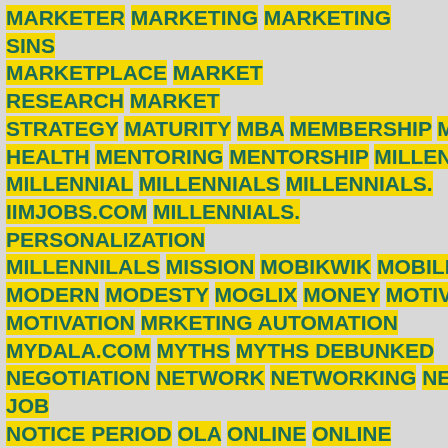MARKETER MARKETING MARKETING SINS MARKETPLACE MARKET RESEARCH MARKET STRATEGY MATURITY MBA MEMBERSHIP MENTAL HEALTH MENTORING MENTORSHIP MILLENIALS MILLENNIAL MILLENNIALS MILLENNIALS. IIMJOBS.COM MILLENNIALS. PERSONALIZATION MILLENNILALS MISSION MOBIKWIK MOBILE MODERN MODESTY MOGLIX MONEY MOTIVATED MOTIVATION MRKETING AUTOMATION MYDALA.COM MYTHS MYTHS DEBUNKED NEGOTIATION NETWORK NETWORKING NEW JOB NOTICE PERIOD OLA ONLINE ONLINE COURSES ONLINE PRESENCE OPEN DOOR POLICY OPERATIONS OPINIONS OPPORTUNITIES OPPORTUNITY OPTIMISM ORACLE ORGANIZATION ORGANIZATIONS ORGANIZATIONS HUMAN RESOURCES ORGANIZE ORGANIZED ORIENTATION ORIGINAL ORIGINAL THINKERS OYO PARALLELS PARAMETERS PASSION PATIENCE PERFECT JOB PERFORMANCE PERFORMANCEM ACHIEVEMENT